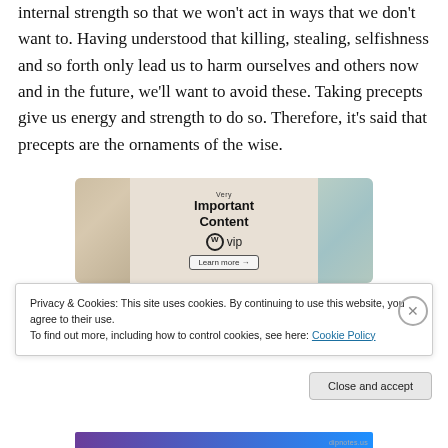internal strength so that we won't act in ways that we don't want to. Having understood that killing, stealing, selfishness and so forth only lead us to harm ourselves and others now and in the future, we'll want to avoid these. Taking precepts give us energy and strength to do so. Therefore, it's said that precepts are the ornaments of the wise.
[Figure (screenshot): WordPress VIP advertisement banner showing 'Very Important Content' with WordPress VIP logo and 'Learn more' button]
Privacy & Cookies: This site uses cookies. By continuing to use this website, you agree to their use.
To find out more, including how to control cookies, see here: Cookie Policy